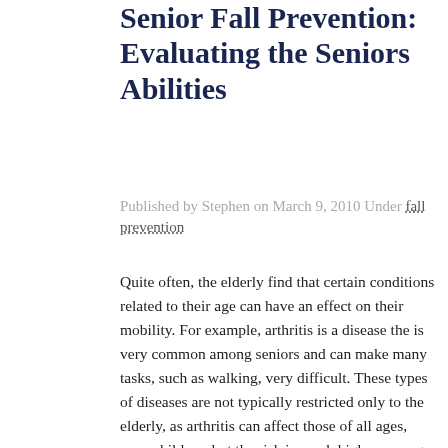Senior Fall Prevention: Evaluating the Seniors Abilities
Published by Stephen on March 9, 2010 Under fall prevention
Quite often, the elderly find that certain conditions related to their age can have an effect on their mobility. For example, arthritis is a disease the is very common among seniors and can make many tasks, such as walking, very difficult. These types of diseases are not typically restricted only to the elderly, as arthritis can affect those of all ages, even children, but the risk is much higher among seniors.
The reduction in mobility caused by a diseases like arthritis can have a